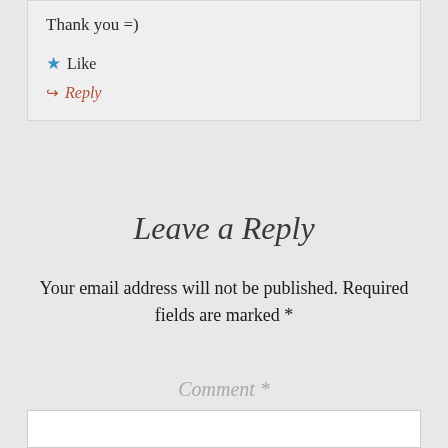Thank you =)
★ Like
↪ Reply
Leave a Reply
Your email address will not be published. Required fields are marked *
Comment *